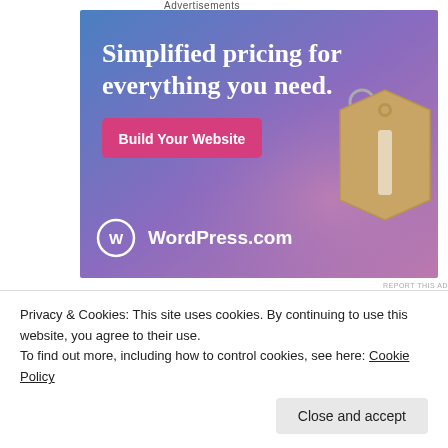Advertisements
[Figure (illustration): WordPress.com advertisement with gradient blue-to-pink background, price tag graphic, text 'Simplified pricing for everything you need.' and pink 'Build Your Website' button with WordPress.com logo]
REPORT THIS AD
It's a strange feeling knowing your son is in a different country, especially when you are used to sending a text to touch base. I knew he was looking
Privacy & Cookies: This site uses cookies. By continuing to use this website, you agree to their use.
To find out more, including how to control cookies, see here: Cookie Policy
Close and accept